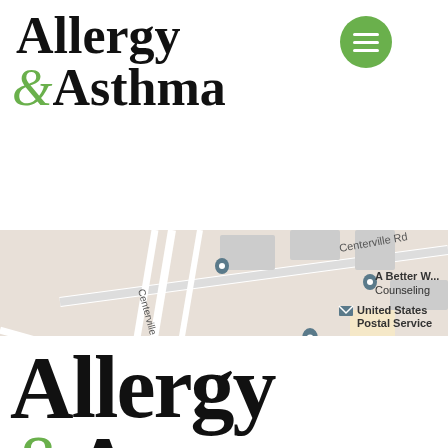[Figure (logo): Allergy & Asthma logo with green ampersand and hamburger menu button]
Call Dr. Saff (850) 386-6680
[Figure (map): Google Maps screenshot showing Centerville Rd area in Tallahassee with markers for United States Postal Service, Tallahassee Veterinary Hospital, Stratomail.net Email, A Better W... Counseling, and other locations. Wheelchair accessibility icon shown.]
[Figure (logo): Allergy & Asthma logo repeated at bottom of page, large size, cropped]